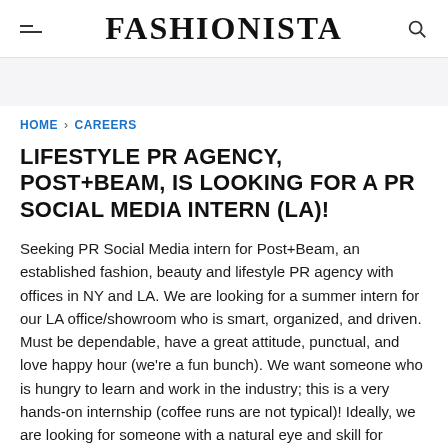FASHIONISTA
HOME › CAREERS
LIFESTYLE PR AGENCY, POST+BEAM, IS LOOKING FOR A PR SOCIAL MEDIA INTERN (LA)!
Seeking PR Social Media intern for Post+Beam, an established fashion, beauty and lifestyle PR agency with offices in NY and LA. We are looking for a summer intern for our LA office/showroom who is smart, organized, and driven. Must be dependable, have a great attitude, punctual, and love happy hour (we're a fun bunch). We want someone who is hungry to learn and work in the industry; this is a very hands-on internship (coffee runs are not typical)! Ideally, we are looking for someone with a natural eye and skill for graphic design. Proficiency in Adobe Photoshop and prior experience with ALL major